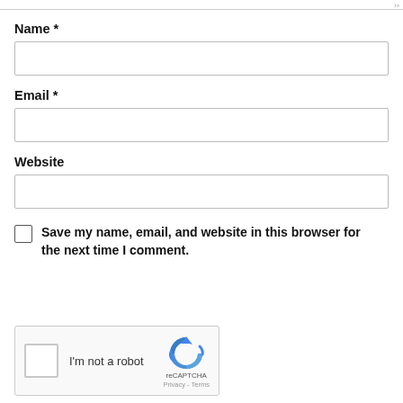Name *
[Figure (other): Empty text input field for Name]
Email *
[Figure (other): Empty text input field for Email]
Website
[Figure (other): Empty text input field for Website]
Save my name, email, and website in this browser for the next time I comment.
[Figure (other): reCAPTCHA widget with 'I'm not a robot' checkbox and Google reCAPTCHA logo with Privacy and Terms links]